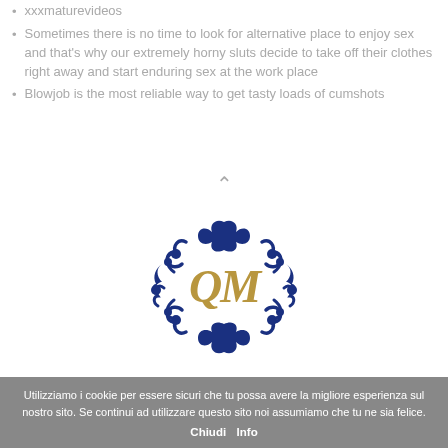xxxmaturevideos
Sometimes there is no time to look for alternative place to enjoy sex and that's why our extremely horny sluts decide to take off their clothes right away and start enduring sex at the work place
Blowjob is the most reliable way to get tasty loads of cumshots
[Figure (logo): Decorative circular ornamental logo with blue flourish border and gold stylized letters in the center]
Utilizziamo i cookie per essere sicuri che tu possa avere la migliore esperienza sul nostro sito. Se continui ad utilizzare questo sito noi assumiamo che tu ne sia felice. Chiudi Info